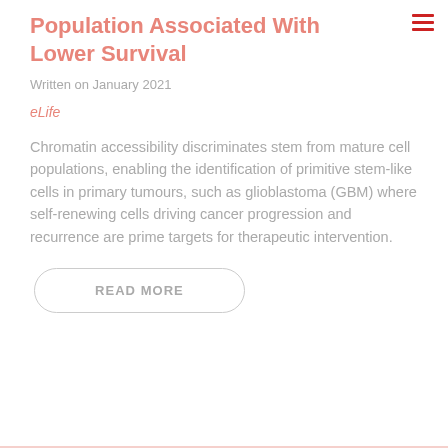Population Associated With Lower Survival
Written on January 2021
eLife
Chromatin accessibility discriminates stem from mature cell populations, enabling the identification of primitive stem-like cells in primary tumours, such as glioblastoma (GBM) where self-renewing cells driving cancer progression and recurrence are prime targets for therapeutic intervention.
READ MORE